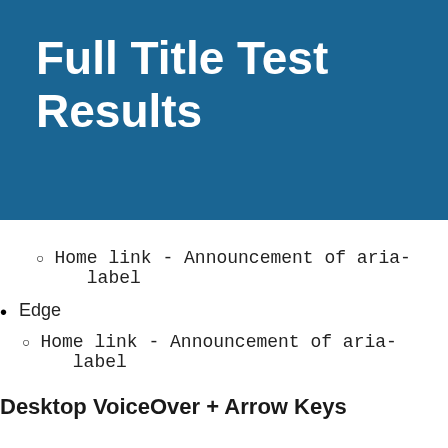Full Title Test Results
Home link - Announcement of aria-label
Edge
Home link - Announcement of aria-label
Desktop VoiceOver + Arrow Keys